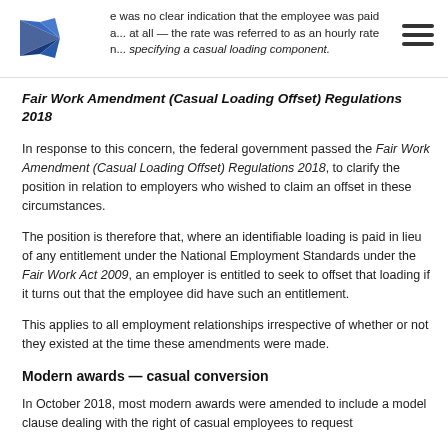e was no clear indication that the employee was paid a... at all — the rate was referred to as an hourly rate n... specifying a casual loading component.
Fair Work Amendment (Casual Loading Offset) Regulations 2018
In response to this concern, the federal government passed the Fair Work Amendment (Casual Loading Offset) Regulations 2018, to clarify the position in relation to employers who wished to claim an offset in these circumstances.
The position is therefore that, where an identifiable loading is paid in lieu of any entitlement under the National Employment Standards under the Fair Work Act 2009, an employer is entitled to seek to offset that loading if it turns out that the employee did have such an entitlement.
This applies to all employment relationships irrespective of whether or not they existed at the time these amendments were made.
Modern awards — casual conversion
In October 2018, most modern awards were amended to include a model clause dealing with the right of casual employees to request conversion to permanent employment.